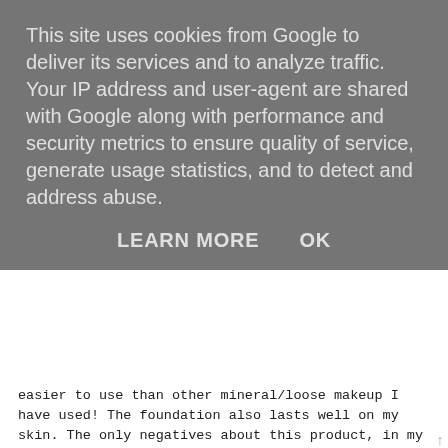This site uses cookies from Google to deliver its services and to analyze traffic. Your IP address and user-agent are shared with Google along with performance and security metrics to ensure quality of service, generate usage statistics, and to detect and address abuse.
LEARN MORE    OK
easier to use than other mineral/loose makeup I have used! The foundation also lasts well on my skin. The only negatives about this product, in my opinion, is that it doesn't cover bigger pores or dark circles but I just use concealer underneath. I would definitely recommend this foundation especially if you have sensitive skin and if you want lighter, invisible coverage! Overall rating: ★★★★★, 5/5!
Have you tried anything from this brand? Have you tried mineral foundations?